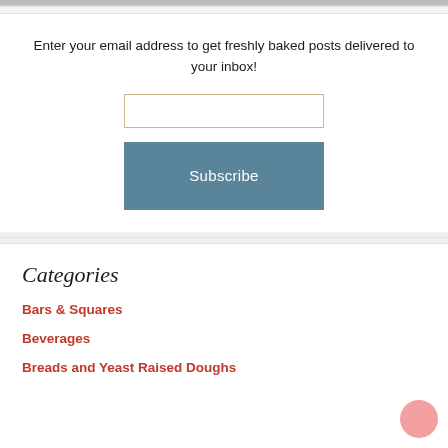[Figure (photo): Partial image strip at top of page]
Enter your email address to get freshly baked posts delivered to your inbox!
[email input field]
Subscribe
Categories
Bars & Squares
Beverages
Breads and Yeast Raised Doughs